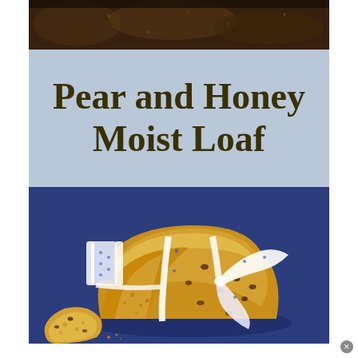[Figure (photo): Close-up photo of a dark baked good (top portion), cropped at top of page]
Pear and Honey Moist Loaf
[Figure (photo): Photo of a sliced pear and honey moist loaf with raisins/fruit pieces on a blue background, wrapped with a decorative white ribbon with blue flowers, with a spool of the same ribbon nearby, and a slice of the loaf in the foreground]